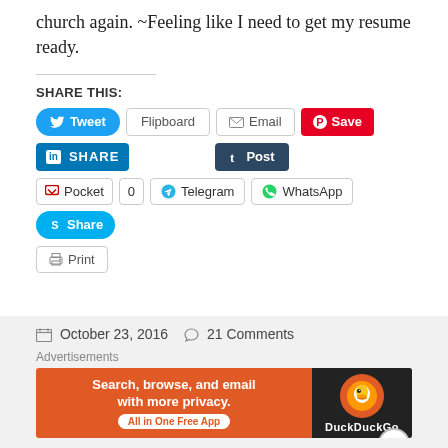church again. ~Feeling like I need to get my resume ready.
SHARE THIS:
[Figure (screenshot): Social sharing buttons: Tweet, Flipboard, Email, Save (Pinterest), LinkedIn SHARE, Tumblr Post, Pocket (0), Telegram, WhatsApp, Skype Share, Print]
October 23, 2016  21 Comments
[Figure (infographic): DuckDuckGo advertisement banner: Search, browse, and email with more privacy. All in One Free App. DuckDuckGo logo on dark right panel.]